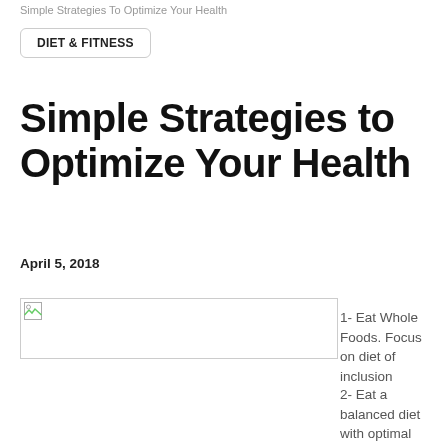Simple Strategies To Optimize Your Health
DIET & FITNESS
Simple Strategies to Optimize Your Health
April 5, 2018
[Figure (photo): Broken/missing image placeholder box]
1- Eat Whole Foods. Focus on diet of inclusion
2- Eat a balanced diet with optimal protein, unrefined